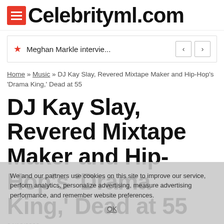CelebrityML.com
Meghan Markle intervie...
Home » Music » DJ Kay Slay, Revered Mixtape Maker and Hip-Hop's 'Drama King,' Dead at 55
DJ Kay Slay, Revered Mixtape Maker and Hip-Hop's 'Drama King,' Dead at 55
04/18/2022
We and our partners use cookies on this site to improve our service, perform analytics, personalize advertising, measure advertising performance, and remember website preferences.